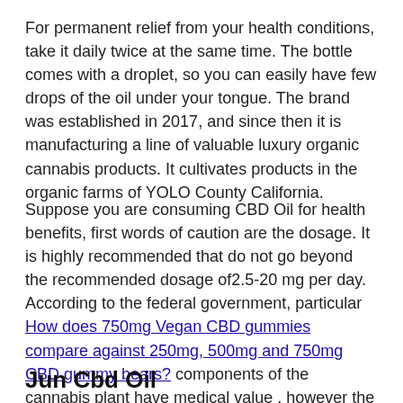For permanent relief from your health conditions, take it daily twice at the same time. The bottle comes with a droplet, so you can easily have few drops of the oil under your tongue. The brand was established in 2017, and since then it is manufacturing a line of valuable luxury organic cannabis products. It cultivates products in the organic farms of YOLO County California.
Suppose you are consuming CBD Oil for health benefits, first words of caution are the dosage. It is highly recommended that do not go beyond the recommended dosage of2.5-20 mg per day. According to the federal government, particular How does 750mg Vegan CBD gummies compare against 250mg, 500mg and 750mg CBD gummy bears? components of the cannabis plant have medical value , however the plant itself does not have medical worth. Uncle Sam's single-molecule blinders show a cultural and political bias that advances Big Pharma items.
Jun Cbd Oil